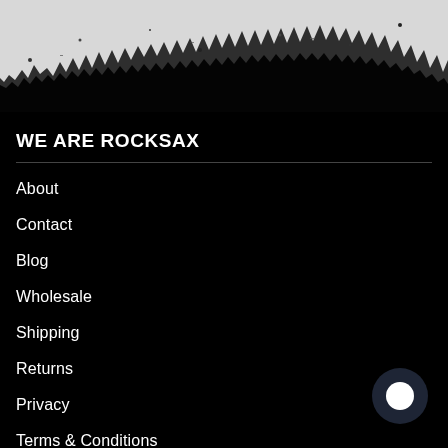[Figure (illustration): Grunge/distressed texture band at top of page — white/grey background with black splatter and rough torn-edge effect at the bottom]
WE ARE ROCKSAX
About
Contact
Blog
Wholesale
Shipping
Returns
Privacy
Terms & Conditions
Coming Soon